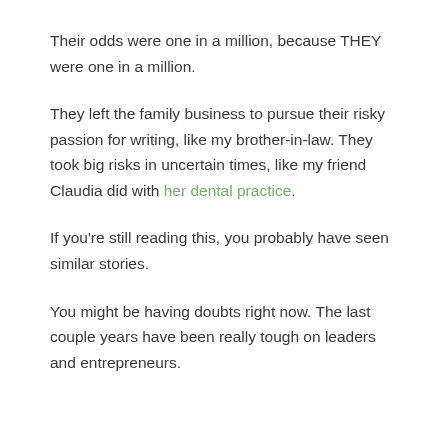Their odds were one in a million, because THEY were one in a million.
They left the family business to pursue their risky passion for writing, like my brother-in-law. They took big risks in uncertain times, like my friend Claudia did with her dental practice.
If you're still reading this, you probably have seen similar stories.
You might be having doubts right now. The last couple years have been really tough on leaders and entrepreneurs.